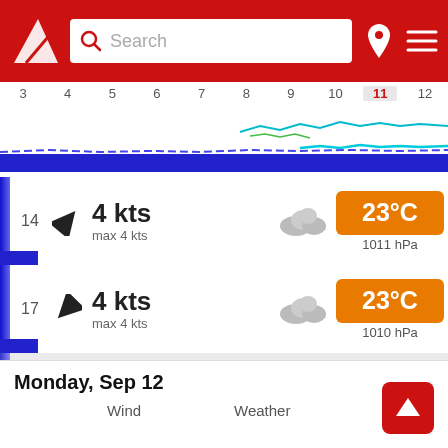[Figure (screenshot): Weather app header with red background, logo, search bar, location pin and menu icons]
[Figure (line-chart): Timeline showing hours 3 through 12 with wave/wind chart, hour 11 highlighted in red]
| Hour | Wind Speed | Max Wind | Weather Icon | Temperature | Pressure |
| --- | --- | --- | --- | --- | --- |
| 14 | 4 kts | max 4 kts | cloudy | 23°C | 1011 hPa |
| 17 | 4 kts | max 4 kts | cloudy | 23°C | 1010 hPa |
| 20 | 2 kts | max 2 kts | partly cloudy night | 21°C | 1009 hPa |
| 23 | 3 kts | max 3 kts | partly cloudy night | 20°C | 1009 hPa |
Monday, Sep 12
Wind
Weather